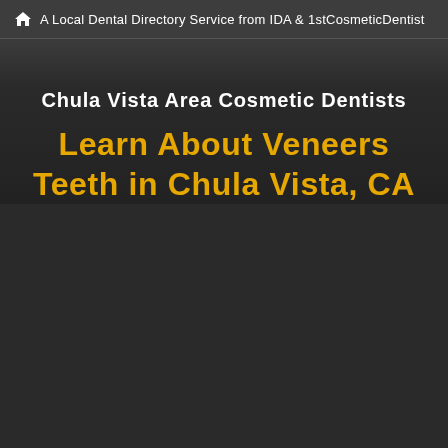A Local Dental Directory Service from IDA & 1stCosmeticDentist
Chula Vista Area Cosmetic Dentists
Learn About Veneers Teeth in Chula Vista, CA